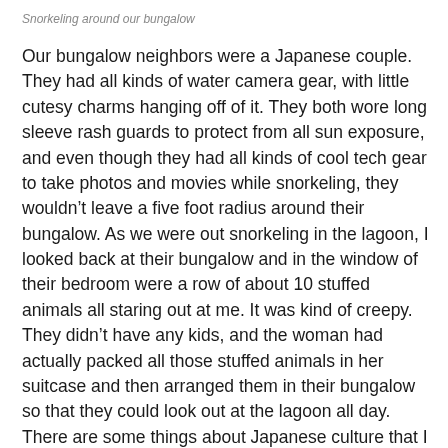Snorkeling around our bungalow
Our bungalow neighbors were a Japanese couple. They had all kinds of water camera gear, with little cutesy charms hanging off of it. They both wore long sleeve rash guards to protect from all sun exposure, and even though they had all kinds of cool tech gear to take photos and movies while snorkeling, they wouldn't leave a five foot radius around their bungalow. As we were out snorkeling in the lagoon, I looked back at their bungalow and in the window of their bedroom were a row of about 10 stuffed animals all staring out at me. It was kind of creepy. They didn't have any kids, and the woman had actually packed all those stuffed animals in her suitcase and then arranged them in their bungalow so that they could look out at the lagoon all day.  There are some things about Japanese culture that I may never fully understand.
While we were snorkeling we had an hour long rainstorm which was kind of fun. It was weird to be in the water in